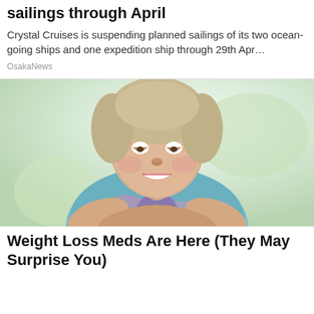sailings through April
Crystal Cruises is suspending planned sailings of its two ocean-going ships and one expedition ship through 29th Apr…
OsakaNews
[Figure (photo): A smiling middle-aged woman with blonde hair, arms crossed, wearing a colorful patterned blouse, photographed against a soft green/white blurred background.]
Weight Loss Meds Are Here (They May Surprise You)